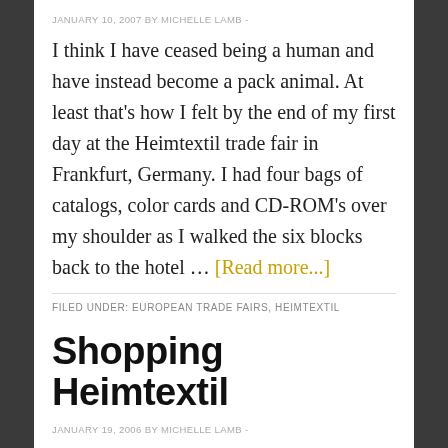JANUARY 10, 2007 BY MICHELLE LAMB -
I think I have ceased being a human and have instead become a pack animal. At least that's how I felt by the end of my first day at the Heimtextil trade fair in Frankfurt, Germany. I had four bags of catalogs, color cards and CD-ROM's over my shoulder as I walked the six blocks back to the hotel … [Read more...]
FILED UNDER: EUROPEAN TRADE FAIRS, HEIMTEXTIL
Shopping Heimtextil
JANUARY 19, 2006 BY MICHELLE LAMB -
Some companies are thrilled to have a member of